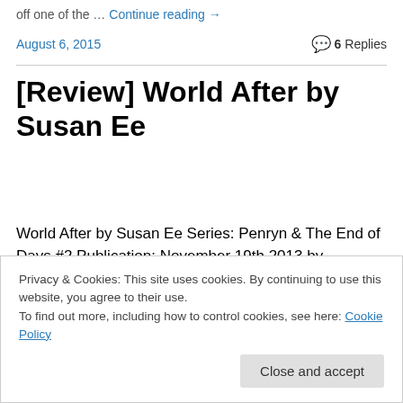off one of the … Continue reading →
August 6, 2015    💬 6 Replies
[Review] World After by Susan Ee
World After by Susan Ee Series: Penryn & The End of Days #2 Publication: November 19th 2013 by Skyscape Number of Pages: 320 Genre: Young Adult, Paranormal, Post Apocalyptic, Romance Source: Netgalley Rating:
Privacy & Cookies: This site uses cookies. By continuing to use this website, you agree to their use.
To find out more, including how to control cookies, see here: Cookie Policy
Close and accept